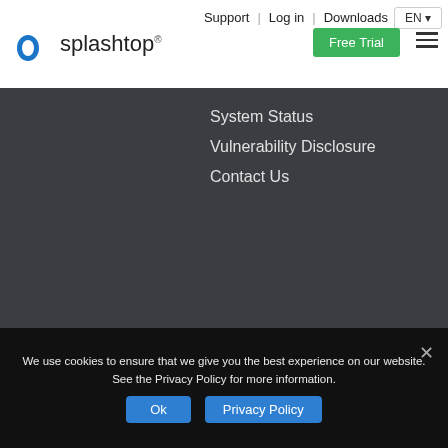Support | Log in | Downloads EN
[Figure (logo): Splashtop logo with blue icon and text in top navigation bar]
System Status
Vulnerability Disclosure
Contact Us
[Figure (logo): Splashtop white logo centered in dark footer area]
Copyright © 2022 Splashtop Inc. All rights reserved.
All $ prices shown in USD.
Terms of Use | Privacy Policy
We use cookies to ensure that we give you the best experience on our website. See the Privacy Policy for more information.